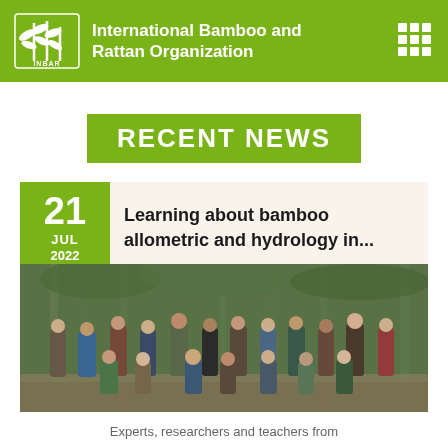International Bamboo and Rattan Organization
RECENT NEWS
21 JUL 2022
Learning about bamboo allometric and hydrology in...
[Figure (photo): Group photo of experts, researchers and teachers standing and sitting outdoors in a bamboo forest setting]
Experts, researchers and teachers from Colombia, Ecuador and Panama attended...